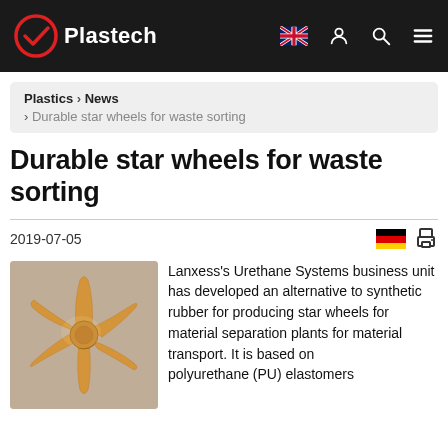Plastech
Plastics › News › Durable star wheels for waste sorting
Durable star wheels for waste sorting
2019-07-05
[Figure (photo): Orange polyurethane star wheel component used in waste sorting material separation plants]
Lanxess's Urethane Systems business unit has developed an alternative to synthetic rubber for producing star wheels for material separation plants for material transport. It is based on polyurethane (PU) elastomers